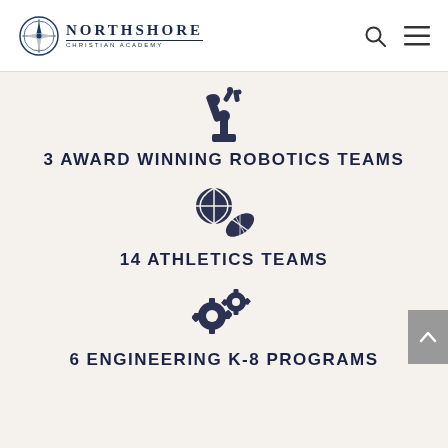Northshore Christian Academy
[Figure (illustration): Robotic arm icon]
3 AWARD WINNING ROBOTICS TEAMS
[Figure (illustration): Basketball and football/rugby ball icons]
14 ATHLETICS TEAMS
[Figure (illustration): Two gears icon]
6 ENGINEERING K-8 PROGRAMS